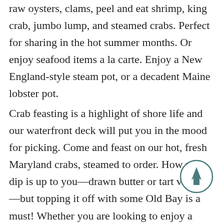raw oysters, clams, peel and eat shrimp, king crab, jumbo lump, and steamed crabs. Perfect for sharing in the hot summer months. Or enjoy seafood items a la carte. Enjoy a New England-style steam pot, or a decadent Maine lobster pot.
Crab feasting is a highlight of shore life and our waterfront deck will put you in the mood for picking. Come and feast on our hot, fresh Maryland crabs, steamed to order. How you dip is up to you—drawn butter or tart vinegar—but topping it off with some Old Bay is a must! Whether you are looking to enjoy a hand squeezed orange crush, recover your day with a famous Starboard Bloody Mary, or just enjoying light refreshments with seafood,
[Figure (other): Circular scroll-to-top button with an upward arrow icon, teal/dark cyan border and arrow]